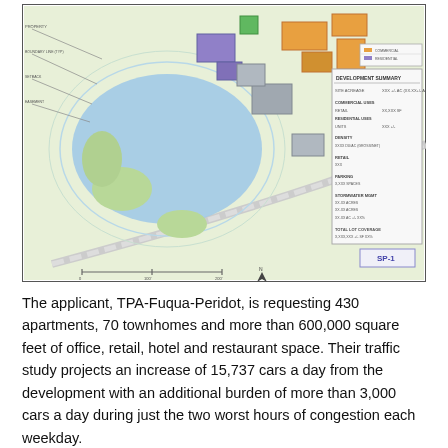[Figure (schematic): Site plan / engineering drawing of a mixed-use development showing building footprints (colored shapes in orange, purple, grey), landscaping, a pond/lake area in blue, roads, and a development summary table in the upper right corner. Labeled SP-1.]
The applicant, TPA-Fuqua-Peridot, is requesting 430 apartments, 70 townhomes and more than 600,000 square feet of office, retail, hotel and restaurant space. Their traffic study projects an increase of 15,737 cars a day from the development with an additional burden of more than 3,000 cars a day during just the two worst hours of congestion each weekday.
So there are currently three urban, high density mixed use developments proposed along the Haynes Bridge corridor between downtown and GA 400. As planned those three mixed use developments are projected to add almost